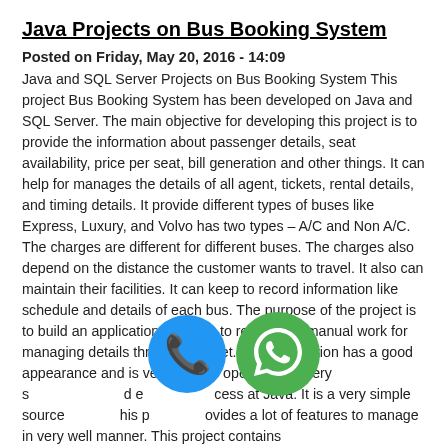Java Projects on Bus Booking System
Posted on Friday, May 20, 2016 - 14:09
Java and SQL Server Projects on Bus Booking System This project Bus Booking System has been developed on Java and SQL Server. The main objective for developing this project is to provide the information about passenger details, seat availability, price per seat, bill generation and other things. It can help for manages the details of all agent, tickets, rental details, and timing details. It provide different types of buses like Express, Luxury, and Volvo has two types – A/C and Non A/C. The charges are different for different buses. The charges also depend on the distance the customer wants to travel. It also can maintain their facilities. It can keep to record information like schedule and details of each bus. The purpose of the project is to build an application program to reduce the manual work for managing details through internet. This application has a good appearance and is very easy to operate. It is very s[icon]d e[icon]cess at Java. It is a very simple source[icon]his p[icon]ovides a lot of features to manage in very well manner. This project contains
[Figure (illustration): Blue circular phone/call icon and green circular WhatsApp icon overlaid on text]